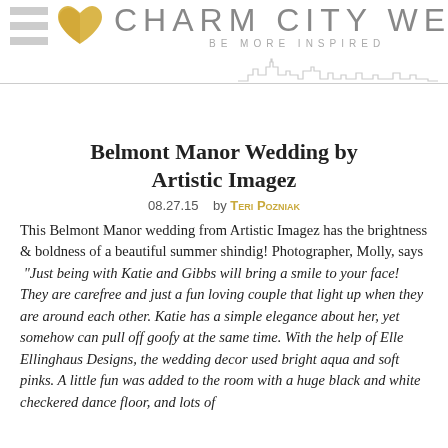CHARM CITY WED — BE MORE INSPIRED
Belmont Manor Wedding by Artistic Imagez
08.27.15    by Teri Pozniak
This Belmont Manor wedding from Artistic Imagez has the brightness & boldness of a beautiful summer shindig! Photographer, Molly, says  "Just being with Katie and Gibbs will bring a smile to your face! They are carefree and just a fun loving couple that light up when they are around each other. Katie has a simple elegance about her, yet somehow can pull off goofy at the same time. With the help of Elle Ellinghaus Designs, the wedding decor used bright aqua and soft pinks. A little fun was added to the room with a huge black and white checkered dance floor, and lots of